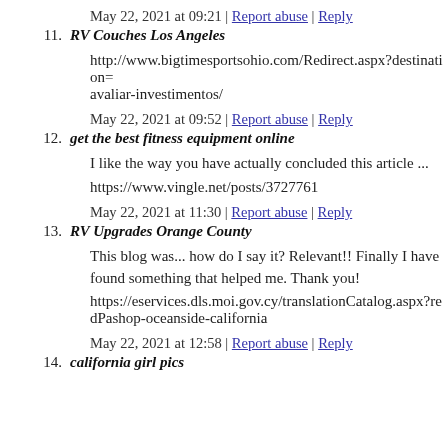May 22, 2021 at 09:21 | Report abuse | Reply
11. RV Couches Los Angeles
http://www.bigtimesportsohio.com/Redirect.aspx?destination=avaliar-investimentos/
May 22, 2021 at 09:52 | Report abuse | Reply
12. get the best fitness equipment online
I like the way you have actually concluded this article ...
https://www.vingle.net/posts/3727761
May 22, 2021 at 11:30 | Report abuse | Reply
13. RV Upgrades Orange County
This blog was... how do I say it? Relevant!! Finally I have found something that helped me. Thank you!
https://eservices.dls.moi.gov.cy/translationCatalog.aspx?redPa...shop-oceanside-california
May 22, 2021 at 12:58 | Report abuse | Reply
14. california girl pics